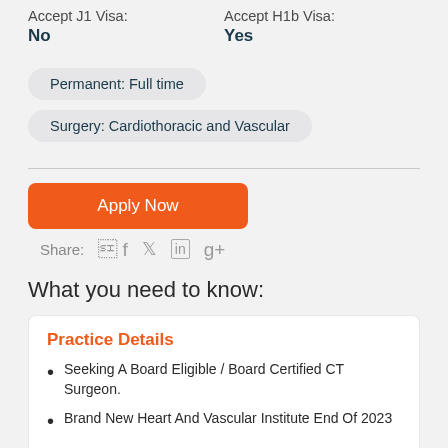Accept J1 Visa: No
Accept H1b Visa: Yes
Permanent: Full time
Surgery: Cardiothoracic and Vascular
Apply Now
Share:
What you need to know:
Practice Details
Seeking A Board Eligible / Board Certified CT Surgeon.
Brand New Heart And Vascular Institute End Of 2023